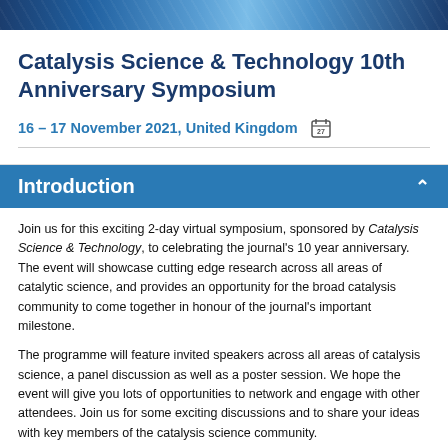[Figure (photo): Abstract blue swirling background image at the top of the page]
Catalysis
Catalysis Science & Technology 10th Anniversary Symposium
16 – 17 November 2021, United Kingdom
Introduction
Join us for this exciting 2-day virtual symposium, sponsored by Catalysis Science & Technology, to celebrating the journal's 10 year anniversary. The event will showcase cutting edge research across all areas of catalytic science, and provides an opportunity for the broad catalysis community to come together in honour of the journal's important milestone.
The programme will feature invited speakers across all areas of catalysis science, a panel discussion as well as a poster session. We hope the event will give you lots of opportunities to network and engage with other attendees. Join us for some exciting discussions and to share your ideas with key members of the catalysis science community.